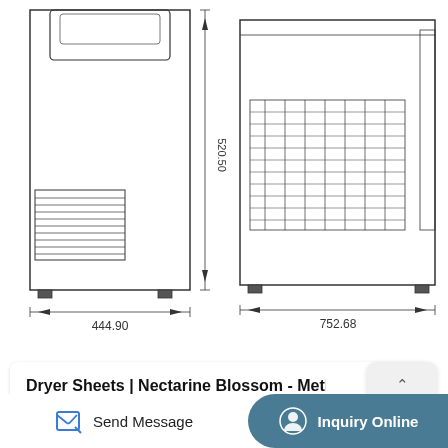[Figure (engineering-diagram): Technical drawing of a freeze dryer front view showing dimensions: height 520.50, width 444.90, with ventilation grilles and a rounded top compartment.]
[Figure (engineering-diagram): Technical drawing of a freeze dryer side/rear view showing dimension width 752.68, with ventilation grilles on the side panel.]
Dryer Sheets | Nectarine Blossom - Method...
Features of Hawach's -40°C in-situ freeze dryer for home use. 1. Water-capturing capacity varies to meet different needs: 1kg/batch, 4kg/batch, 6kg/batch and 8kg/batch. 2. Small home freeze dryer, simple to operate, equipped with heating function to accelerate the freeze-drying process. 3....